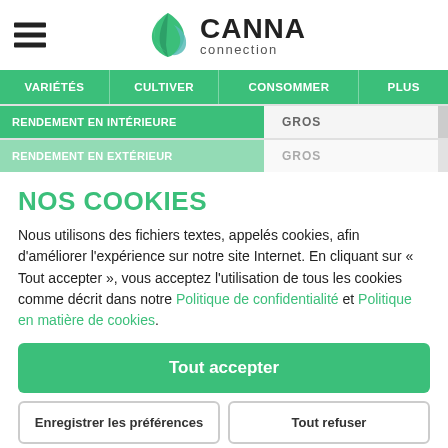CANNA connection
VARIÉTÉS | CULTIVER | CONSOMMER | PLUS
| Label | Value |
| --- | --- |
| RENDEMENT EN INTÉRIEURE | GROS |
| RENDEMENT EN EXTÉRIEUR | GROS |
NOS COOKIES
Nous utilisons des fichiers textes, appelés cookies, afin d'améliorer l'expérience sur notre site Internet. En cliquant sur « Tout accepter », vous acceptez l'utilisation de tous les cookies comme décrit dans notre Politique de confidentialité et Politique en matière de cookies.
Tout accepter
Enregistrer les préférences
Tout refuser